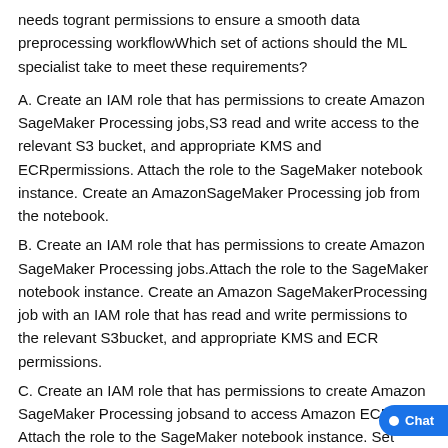needs togrant permissions to ensure a smooth data preprocessing workflowWhich set of actions should the ML specialist take to meet these requirements?
A. Create an IAM role that has permissions to create Amazon SageMaker Processing jobs,S3 read and write access to the relevant S3 bucket, and appropriate KMS and ECRpermissions. Attach the role to the SageMaker notebook instance. Create an AmazonSageMaker Processing job from the notebook.
B. Create an IAM role that has permissions to create Amazon SageMaker Processing jobs.Attach the role to the SageMaker notebook instance. Create an Amazon SageMakerProcessing job with an IAM role that has read and write permissions to the relevant S3bucket, and appropriate KMS and ECR permissions.
C. Create an IAM role that has permissions to create Amazon SageMaker Processing jobsand to access Amazon ECR. Attach the role to the SageMaker notebook instance. Set upboth an S3 and a KMS endpoint in the default VPC. Create Amazon